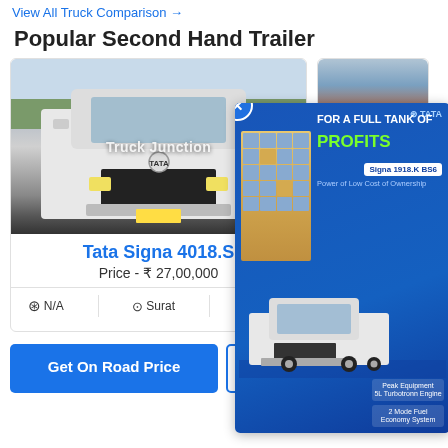View All Truck Comparison →
Popular Second Hand Trailer
[Figure (photo): Front view of a Tata Signa 4018.S white truck with Truck Junction watermark]
Tata Signa 4018.S
Price - ₹ 27,00,000
⊕ N/A   ⊙ Surat   📅 2019
[Figure (photo): Partial view of a second truck (red/brown tipper) with Tru... watermark]
[Figure (advertisement): Tata Motors advertisement for Signa 1918.K BS6 - FOR A FULL TANK OF PROFITS]
⊕ N/A
Get On Road Price
Apply for Loan